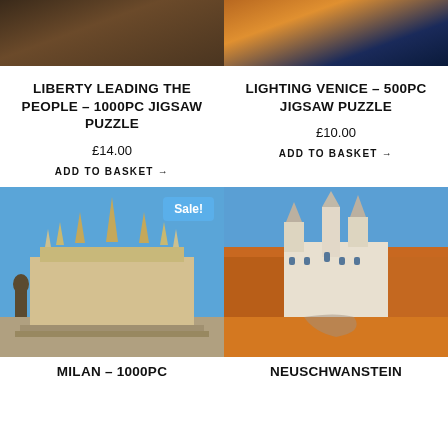[Figure (photo): Top-left: Liberty Leading the People painting (dark/sepia toned)]
[Figure (photo): Top-right: Lighting Venice at night with golden reflections]
LIBERTY LEADING THE PEOPLE – 1000PC JIGSAW PUZZLE
£14.00
ADD TO BASKET →
LIGHTING VENICE – 500PC JIGSAW PUZZLE
£10.00
ADD TO BASKET →
[Figure (photo): Milan Cathedral (Duomo di Milano) with blue sky and Sale! badge]
[Figure (photo): Neuschwanstein Castle surrounded by autumn forest]
MILAN – 1000PC
NEUSCHWANSTEIN